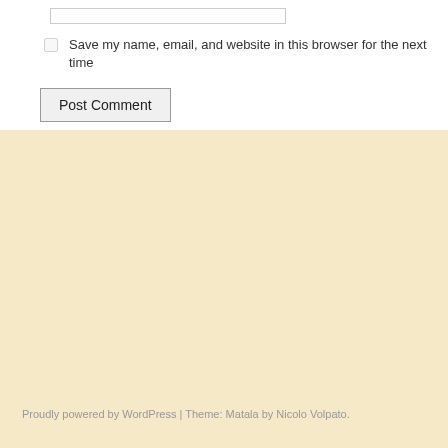Save my name, email, and website in this browser for the next time
Post Comment
Proudly powered by WordPress | Theme: Matala by Nicolo Volpato.